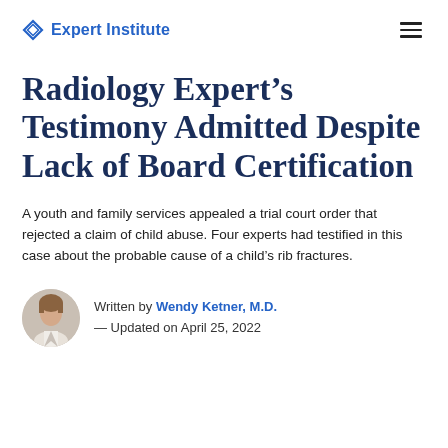Expert Institute
Radiology Expert’s Testimony Admitted Despite Lack of Board Certification
A youth and family services appealed a trial court order that rejected a claim of child abuse. Four experts had testified in this case about the probable cause of a child’s rib fractures.
Written by Wendy Ketner, M.D. — Updated on April 25, 2022